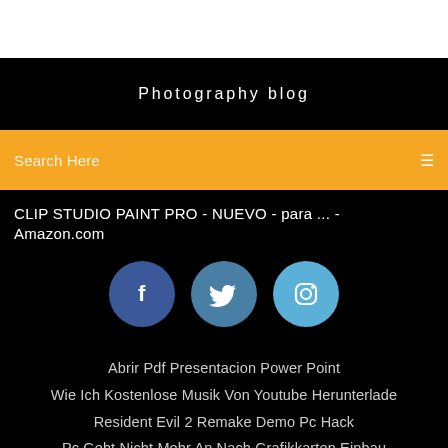[Figure (screenshot): White top bar area]
Photography blog
Search Here
CLIP STUDIO PAINT PRO - NUEVO - para ... - Amazon.com
[Figure (illustration): Three social media icons: Facebook (dark blue circle), Twitter (medium blue circle), Instagram (light blue circle)]
Abrir Pdf Presentacion Power Point
Wie Ich Kostenlose Musik Von Youtube Herunterlade
Resident Evil 2 Remake Demo Pc Hack
Pc Geht Nicht Mehr An Nach Grafikkarten Einbau